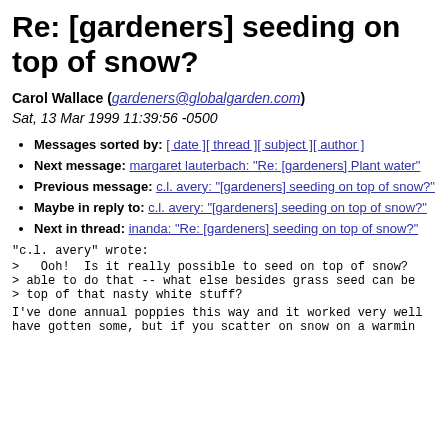Re: [gardeners] seeding on top of snow?
Carol Wallace (gardeners@globalgarden.com)
Sat, 13 Mar 1999 11:39:56 -0500
Messages sorted by: [ date ][ thread ][ subject ][ author ]
Next message: margaret lauterbach: "Re: [gardeners] Plant water"
Previous message: c.l. avery: "[gardeners] seeding on top of snow?"
Maybe in reply to: c.l. avery: "[gardeners] seeding on top of snow?"
Next in thread: inanda: "Re: [gardeners] seeding on top of snow?"
"c.l. avery" wrote:
>   Ooh!  Is it really possible to seed on top of snow?
> able to do that -- what else besides grass seed can be
> top of that nasty white stuff?
I've done annual poppies this way and it worked very well
have gotten some, but if you scatter on snow on a warmin